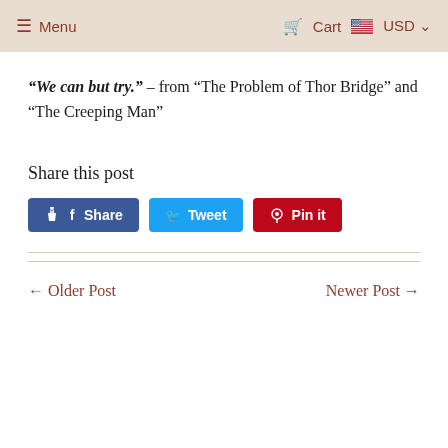≡ Menu   Cart  USD
“We can but try.” – from “The Problem of Thor Bridge” and “The Creeping Man”
Share this post
Share  Tweet  Pin it
← Older Post    Newer Post →